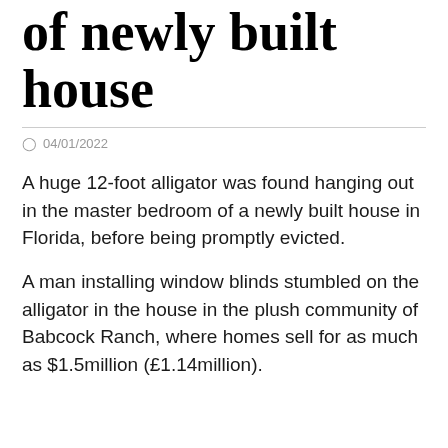of newly built house
04/01/2022
A huge 12-foot alligator was found hanging out in the master bedroom of a newly built house in Florida, before being promptly evicted.
A man installing window blinds stumbled on the alligator in the house in the plush community of Babcock Ranch, where homes sell for as much as $1.5million (£1.14million).